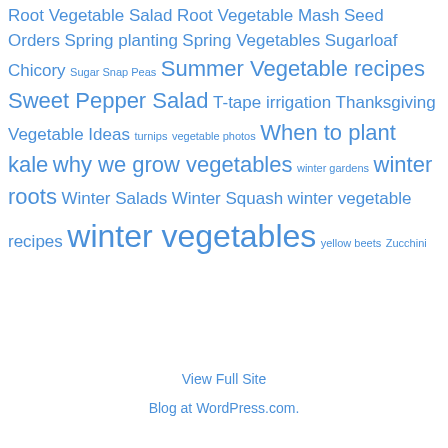Root Vegetable Salad Root Vegetable Mash Seed Orders Spring planting Spring Vegetables Sugarloaf Chicory Sugar Snap Peas Summer Vegetable recipes Sweet Pepper Salad T-tape irrigation Thanksgiving Vegetable Ideas turnips vegetable photos When to plant kale why we grow vegetables winter gardens winter roots Winter Salads Winter Squash winter vegetable recipes winter vegetables yellow beets Zucchini
View Full Site
Blog at WordPress.com.